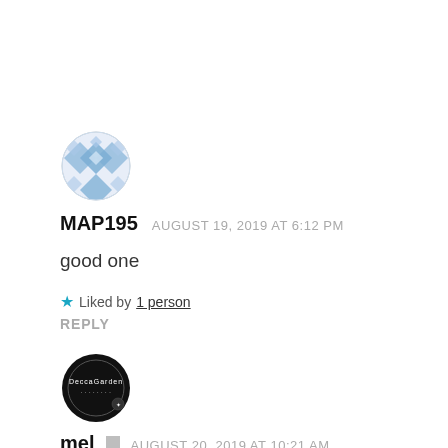[Figure (illustration): Circular avatar with blue/white geometric diamond pattern like a decorative sphere]
MAP195   AUGUST 19, 2019 AT 6:12 PM
good one
★ Liked by 1 person
REPLY
[Figure (logo): Circular black avatar with white circular text reading DeccaGarden]
mel  [icon]  AUGUST 20, 2019 AT 10:21 AM